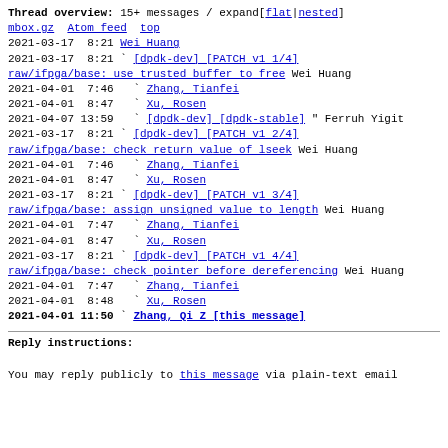Thread overview: 15+ messages / expand[flat|nested]
mbox.gz  Atom feed  top
2021-03-17  8:21 Wei Huang
2021-03-17  8:21 ` [dpdk-dev] [PATCH v1 1/4] raw/ifpga/base: use trusted buffer to free Wei Huang
2021-04-01  7:46   ` Zhang, Tianfei
2021-04-01  8:47   ` Xu, Rosen
2021-04-07 13:59   ` [dpdk-dev] [dpdk-stable] " Ferruh Yigit
2021-03-17  8:21 ` [dpdk-dev] [PATCH v1 2/4] raw/ifpga/base: check return value of lseek Wei Huang
2021-04-01  7:46   ` Zhang, Tianfei
2021-04-01  8:47   ` Xu, Rosen
2021-03-17  8:21 ` [dpdk-dev] [PATCH v1 3/4] raw/ifpga/base: assign unsigned value to length Wei Huang
2021-04-01  7:47   ` Zhang, Tianfei
2021-04-01  8:47   ` Xu, Rosen
2021-03-17  8:21 ` [dpdk-dev] [PATCH v1 4/4] raw/ifpga/base: check pointer before dereferencing Wei Huang
2021-04-01  7:47   ` Zhang, Tianfei
2021-04-01  8:48   ` Xu, Rosen
2021-04-01 11:50   ` Zhang, Qi Z [this message]
Reply instructions:
You may reply publicly to this message via plain-text email